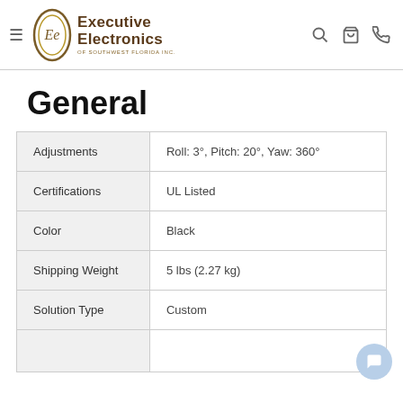Executive Electronics of Southwest Florida Inc.
General
|  |  |
| --- | --- |
| Adjustments | Roll: 3°, Pitch: 20°, Yaw: 360° |
| Certifications | UL Listed |
| Color | Black |
| Shipping Weight | 5 lbs (2.27 kg) |
| Solution Type | Custom |